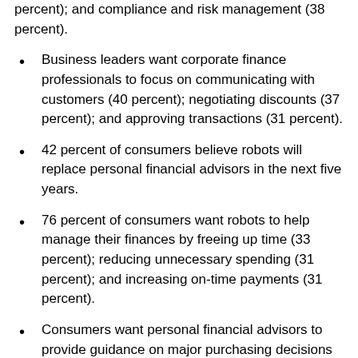budgeting and forecasting (39 percent); reporting (31 percent); and compliance and risk management (38 percent).
Business leaders want corporate finance professionals to focus on communicating with customers (40 percent); negotiating discounts (37 percent); and approving transactions (31 percent).
42 percent of consumers believe robots will replace personal financial advisors in the next five years.
76 percent of consumers want robots to help manage their finances by freeing up time (33 percent); reducing unnecessary spending (31 percent); and increasing on-time payments (31 percent).
Consumers want personal financial advisors to provide guidance on major purchasing decisions such as buying a house (45 percent); buying a car (41 percent); and planning for retirement (38 percent).